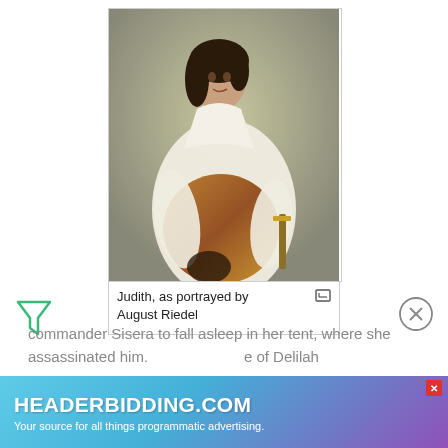[Figure (illustration): Painting of Judith by August Riedel — a dark-haired woman in white robes with golden ornate fabric, holding a sword, with a severed head at her feet]
Judith, as portrayed by August Riedel
commander Sisera to fall asleep in her tent, where she assassinated him. … of Delilah
[Figure (infographic): Advertisement banner: HEADERBIDDING.COM — Your source for all things programmatic advertising.]